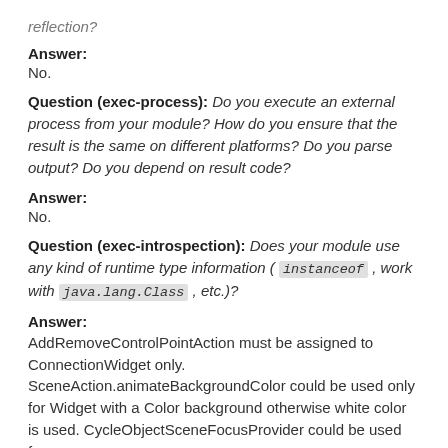reflection?
Answer:
No.
Question (exec-process): Do you execute an external process from your module? How do you ensure that the result is the same on different platforms? Do you parse output? Do you depend on result code?
Answer:
No.
Question (exec-introspection): Does your module use any kind of runtime type information ( instanceof , work with java.lang.Class , etc.)?
Answer:
AddRemoveControlPointAction must be assigned to ConnectionWidget only. SceneAction.animateBackgroundColor could be used only for Widget with a Color background otherwise white color is used. CycleObjectSceneFocusProvider could be used for